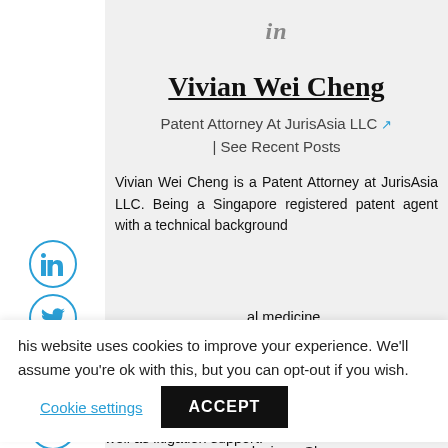[Figure (logo): LinkedIn 'in' icon at top center of profile page]
Vivian Wei Cheng
Patent Attorney At JurisAsia LLC | See Recent Posts
Vivian Wei Cheng is a Patent Attorney at JurisAsia LLC. Being a Singapore registered patent agent with a technical background ... al medicine, onal patent ocusing on maceuticals, mmunology, culture and devices. She d strategic operty (IP) t in various ence (AI), as well as litigation support.
This website uses cookies to improve your experience. We'll assume you're ok with this, but you can opt-out if you wish. Cookie settings ACCEPT
well as litigation support.